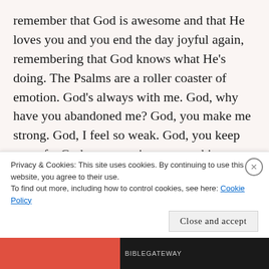remember that God is awesome and that He loves you and you end the day joyful again, remembering that God knows what He's doing. The Psalms are a roller coaster of emotion. God's always with me. God, why have you abandoned me? God, you make me strong. God, I feel so weak. God, you keep me safe. God, my enemies are attacking me and I am vulnerable. If everyone's life wasn't like that, you'd think David was bipolar or something.
But everyone has experienced what David went through. Everybody's life has turned upside down at
Privacy & Cookies: This site uses cookies. By continuing to use this website, you agree to their use.
To find out more, including how to control cookies, see here: Cookie Policy
Close and accept